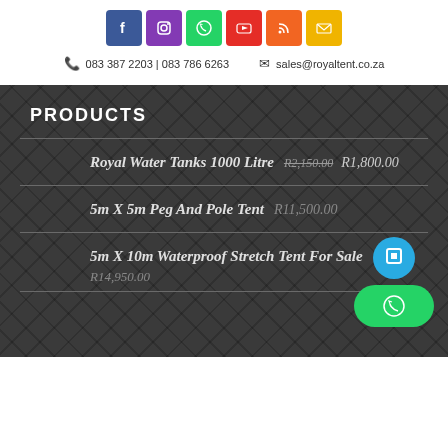[Figure (infographic): Social media icon buttons: Facebook (blue), Instagram (purple), WhatsApp (green), YouTube (red), RSS (orange), Email (yellow)]
083 387 2203 | 083 786 6263    sales@royaltent.co.za
PRODUCTS
Royal Water Tanks 1000 Litre R2,150.00 R1,800.00
5m X 5m Peg And Pole Tent R11,500.00
5m X 10m Waterproof Stretch Tent For Sale R14,950.00